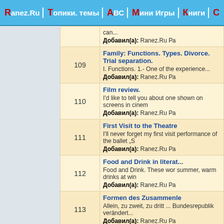Ranez.Ru | Топики. темы | АВС | Мини Игры | Книги
| # | Content |
| --- | --- |
|  | can... Добавил(а): Ranez.Ru Ра |
| 109 | Family: Functions. Types. Divorce. Trial separation. I. Functions. 1.- One of the experience... Добавил(а): Ranez.Ru Ра |
| 110 | Film review. I'd like to tell you about one shown on screens in cinem. Добавил(а): Ranez.Ru Ра |
| 111 | First Visit to the Theatre I'll never forget my first visit performance of the ballet „S Добавил(а): Ranez.Ru Ра |
| 112 | Food and Drink in literat... Food and Drink. These wor summer, warm drinks at win Добавил(а): Ranez.Ru Ра |
| 113 | Formen des Zusammenle Allein, zu zweit, zu dritt ... Bundesrepublik verändert... Добавил(а): Ranez.Ru Ра |
| 114 | Functional Format of Res Functional Format of Resum Добавил(а): Ranez.Ru Ра |